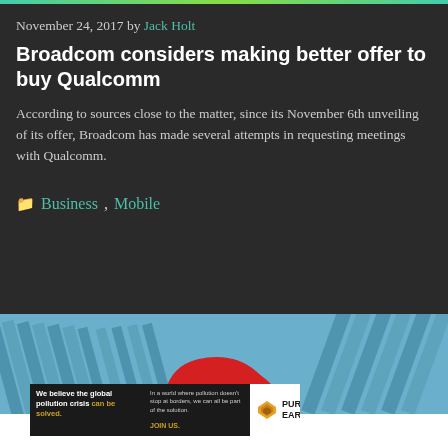November 24, 2017 by Jack Holt
Broadcom considers making better offer to buy Qualcomm
According to sources close to the matter, since its November 6th unveiling of its offer, Broadcom has made several attempts in requesting meetings with Qualcomm.
Business, Mobile
[Figure (photo): Corporate building exterior with blue glass facade and partial view of a red and white circular logo]
[Figure (infographic): Pure Earth advertisement: 'We believe the global pollution crisis can be solved. In a world where pollution doesn't stop at borders, we can all be part of the solution. JOIN US.' with Pure Earth logo]